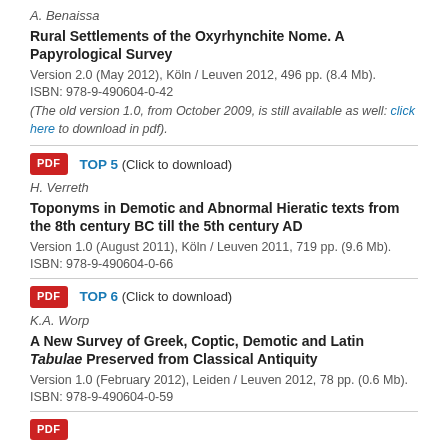A. Benaissa
Rural Settlements of the Oxyrhynchite Nome. A Papyrological Survey
Version 2.0 (May 2012), Köln / Leuven 2012, 496 pp. (8.4 Mb).
ISBN: 978-9-490604-0-42
(The old version 1.0, from October 2009, is still available as well: click here to download in pdf).
[Figure (other): PDF icon badge]
TOP 5 (Click to download)
H. Verreth
Toponyms in Demotic and Abnormal Hieratic texts from the 8th century BC till the 5th century AD
Version 1.0 (August 2011), Köln / Leuven 2011, 719 pp. (9.6 Mb).
ISBN: 978-9-490604-0-66
[Figure (other): PDF icon badge]
TOP 6 (Click to download)
K.A. Worp
A New Survey of Greek, Coptic, Demotic and Latin Tabulae Preserved from Classical Antiquity
Version 1.0 (February 2012), Leiden / Leuven 2012, 78 pp. (0.6 Mb).
ISBN: 978-9-490604-0-59
[Figure (other): PDF icon badge]